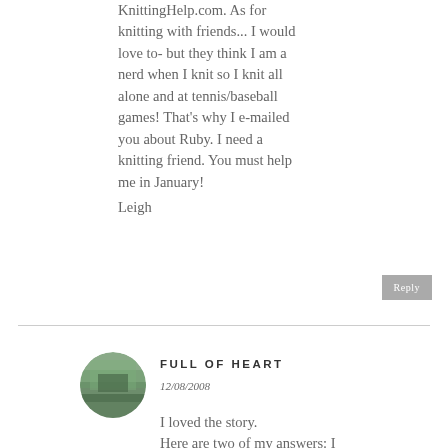KnittingHelp.com. As for knitting with friends... I would love to- but they think I am a nerd when I knit so I knit all alone and at tennis/baseball games! That's why I e-mailed you about Ruby. I need a knitting friend. You must help me in January!
Leigh
Reply
FULL OF HEART
12/08/2008
I loved the story.
Here are two of my answers: I